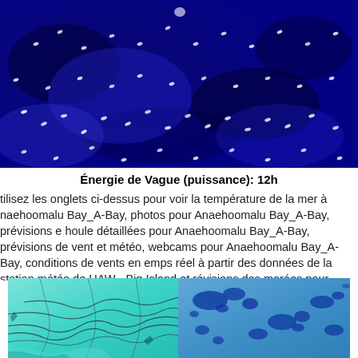[Figure (photo): Satellite or radar image of ocean wave energy patterns showing blue hues with white markers scattered across the surface indicating wave directions and intensities.]
Énergie de Vague (puissance): 12h
tilisez les onglets ci-dessus pour voir la température de la mer à naehoomalu Bay_A-Bay, photos pour Anaehoomalu Bay_A-Bay, prévisions e houle détaillées pour Anaehoomalu Bay_A-Bay, prévisions de vent et météo, webcams pour Anaehoomalu Bay_A-Bay, conditions de vents en emps réel à partir des données de la station météo de HAW - Big Island et révisions des marées pour Anaehoomalu Bay_A-Bay. Les cartes de houle our United States afficheront une image agrandie de United States et des es mers environnantes. Read More
[Figure (photo): Teal/cyan colored ocean wave or current map showing coastal contours and sea state for a region.]
[Figure (photo): Blue colored ocean wave or swell map showing islands or landmasses as dark blue shapes on a lighter blue sea background.]